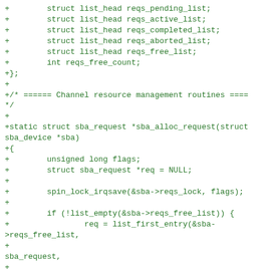+        struct list_head reqs_pending_list;
+        struct list_head reqs_active_list;
+        struct list_head reqs_completed_list;
+        struct list_head reqs_aborted_list;
+        struct list_head reqs_free_list;
+        int reqs_free_count;
+};
+
+/* ====== Channel resource management routines ====
*/
+
+static struct sba_request *sba_alloc_request(struct sba_device *sba)
+{
+        unsigned long flags;
+        struct sba_request *req = NULL;
+
+        spin_lock_irqsave(&sba->reqs_lock, flags);
+
+        if (!list_empty(&sba->reqs_free_list)) {
+                req = list_first_entry(&sba->reqs_free_list,
+                                                        struct sba_request,
+                                                        node);
+
+                req->state = SBA_REQUEST_STATE_ALLOCED;
+                req->fence = false;
+                atomic_set(&req->msgs_pending_count,
0);